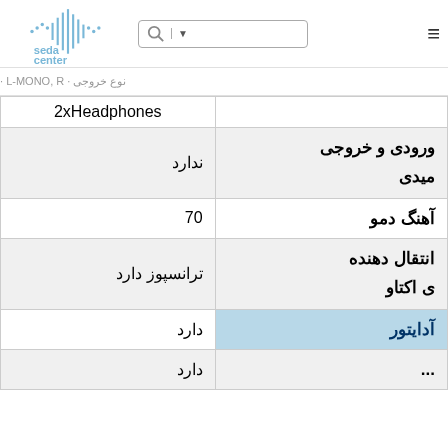[Figure (logo): Seda Center logo with sound wave graphic and text 'seda center' in blue]
| نوع خروجی | L-MONO, R-... |
| --- | --- |
|  | 2xHeadphones |
| ورودی و خروجی میدی | ندارد |
| آهنگ دمو | 70 |
| انتقال دهنده ی اکتاو | ترانسپوز دارد |
| آدایتور | دارد |
| ... | دارد |